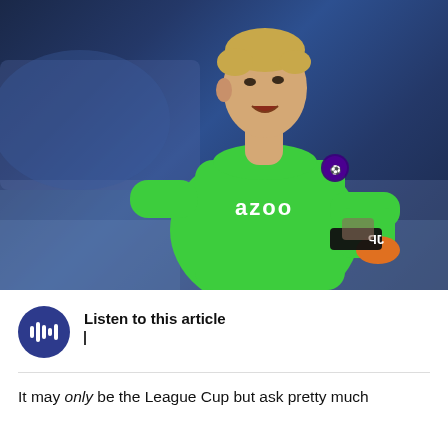[Figure (photo): A goalkeeper wearing a bright green Everton jersey with 'AZOO' sponsor text and Premier League badge, looking to the side with mouth open, with blue stadium background.]
Listen to this article
It may only be the League Cup but ask pretty much